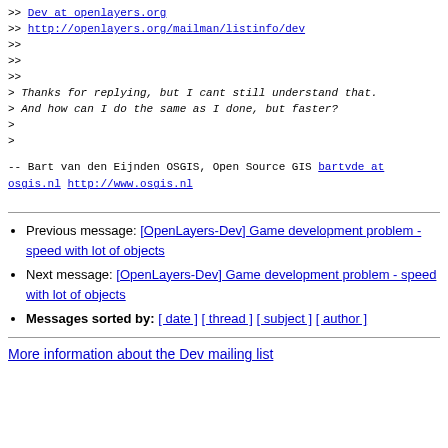>> Dev at openlayers.org
>> http://openlayers.org/mailman/listinfo/dev
>>
>>
>>
> Thanks for replying, but I cant still understand that.
> And how can I do the same as I done, but faster?
>
>
--
Bart van den Eijnden
OSGIS, Open Source GIS
bartvde at osgis.nl
http://www.osgis.nl
Previous message: [OpenLayers-Dev] Game development problem - speed with lot of objects
Next message: [OpenLayers-Dev] Game development problem - speed with lot of objects
Messages sorted by: [ date ] [ thread ] [ subject ] [ author ]
More information about the Dev mailing list